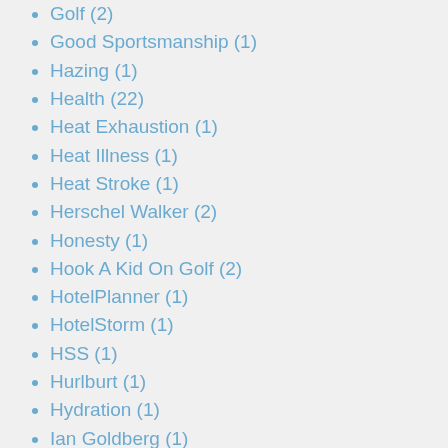Golf (2)
Good Sportsmanship (1)
Hazing (1)
Health (22)
Heat Exhaustion (1)
Heat Illness (1)
Heat Stroke (1)
Herschel Walker (2)
Honesty (1)
Hook A Kid On Golf (2)
HotelPlanner (1)
HotelStorm (1)
HSS (1)
Hurlburt (1)
Hydration (1)
Ian Goldberg (1)
Inclusion (6)
Independent Programs (1)
Injury (2)
Injury Prevention (1)
Insurance (1)
Integrity (1)
iSport360 (3)